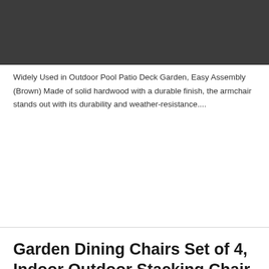Widely Used in Outdoor Pool Patio Deck Garden, Easy Assembly (Brown) Made of solid hardwood with a durable finish, the armchair stands out with its durability and weather-resistance....
Garden Dining Chairs Set of 4, Indoor Outdoor Stacking Chair with Textilene
Garden Dining Chairs Set of 4, Indoor Outdoor Stacking Chair with Textilene Fabric and Metal Frame, Ergonomic Armchair for Patio Garden Dining Room (No Table) 【Stackable Garden Chair】4Pcs Dining chairs can be easily Stacked. Space-saving, suitable for small space. Lightweight...